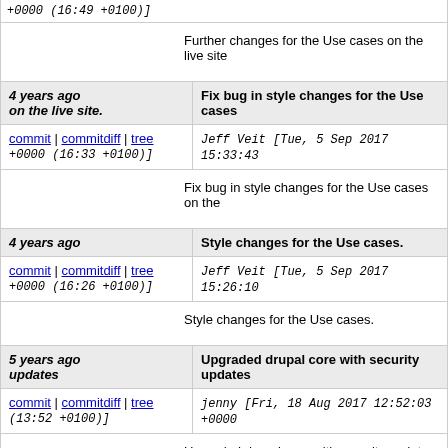+0000 (16:49 +0100)]
Further changes for the Use cases on the live site
4 years ago on the live site. | Fix bug in style changes for the Use cases
commit | commitdiff | tree  Jeff Veit [Tue, 5 Sep 2017 15:33:43 +0000 (16:33 +0100)]
Fix bug in style changes for the Use cases on the
4 years ago | Style changes for the Use cases.
commit | commitdiff | tree  Jeff Veit [Tue, 5 Sep 2017 15:26:10 +0000 (16:26 +0100)]
Style changes for the Use cases.
5 years ago updates | Upgraded drupal core with security updates
commit | commitdiff | tree  jenny [Fri, 18 Aug 2017 12:52:03 +0000 (13:52 +0100)]
Upgraded drupal core with security updates